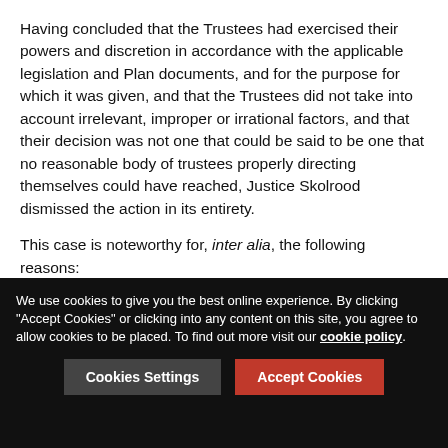Having concluded that the Trustees had exercised their powers and discretion in accordance with the applicable legislation and Plan documents, and for the purpose for which it was given, and that the Trustees did not take into account irrelevant, improper or irrational factors, and that their decision was not one that could be said to be one that no reasonable body of trustees properly directing themselves could have reached, Justice Skolrood dismissed the action in its entirety.
This case is noteworthy for, inter alia, the following reasons:
1. It serves as a reminder of the importance of good record-keeping by pension trustees, setting out the factors taken into account in the exercise of their discretionary decision, which assisted the Trustees in this case in being able to dismiss the
We use cookies to give you the best online experience. By clicking "Accept Cookies" or clicking into any content on this site, you agree to allow cookies to be placed. To find out more visit our cookie policy.